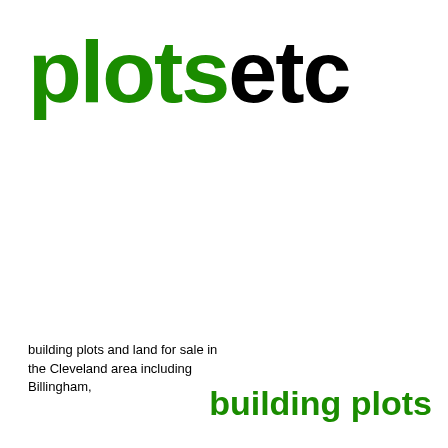plotsetc
building plots and land for sale in the Cleveland area including Billingham,
building plots